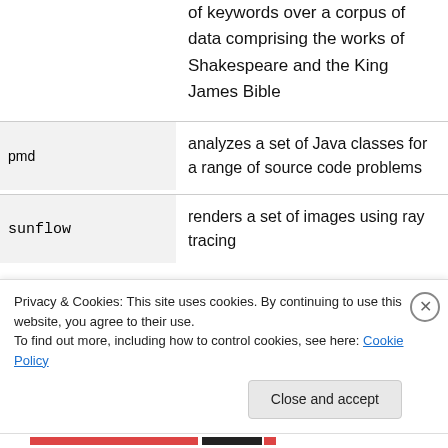of keywords over a corpus of data comprising the works of Shakespeare and the King James Bible
| benchmark | description |
| --- | --- |
| pmd | analyzes a set of Java classes for a range of source code problems |
| sunflow | renders a set of images using ray tracing |
Privacy & Cookies: This site uses cookies. By continuing to use this website, you agree to their use.
To find out more, including how to control cookies, see here: Cookie Policy